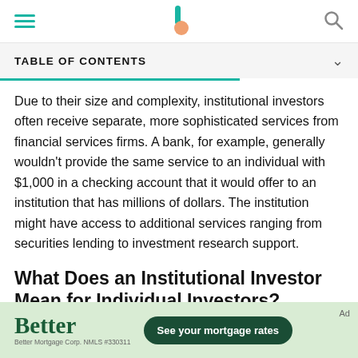TABLE OF CONTENTS
Due to their size and complexity, institutional investors often receive separate, more sophisticated services from financial services firms. A bank, for example, generally wouldn't provide the same service to an individual with $1,000 in a checking account that it would offer to an institution that has millions of dollars. The institution might have access to additional services ranging from securities lending to investment research support.
What Does an Institutional Investor Mean for Individual Investors?
[Figure (other): Advertisement banner for Better Mortgage with green background, Better logo, small print 'Better Mortgage Corp. NMLS #330311', and a dark green button reading 'See your mortgage rates']